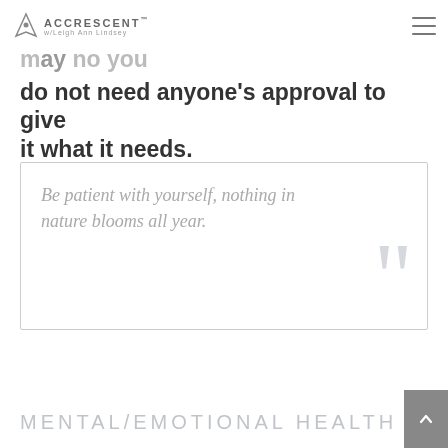ACCRESCENT™ w/Leigh Ann Lindsey
Be patient with yourself. Say no one may say no you do and you do not need anyone's approval to give it what it needs.
Be patient with yourself, nothing in nature blooms all year.
MENTAL/EMOTIONAL HEALTH